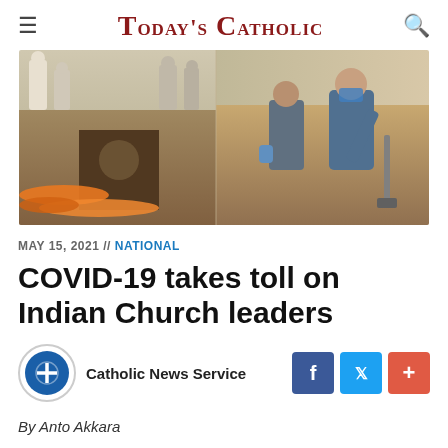Today's Catholic
[Figure (photo): Photo of a burial scene in India showing people digging a grave with orange flower garlands visible on the left side, and a person wearing a mask using a shovel on the right side.]
MAY 15, 2021 // NATIONAL
COVID-19 takes toll on Indian Church leaders
Catholic News Service
By Anto Akkara